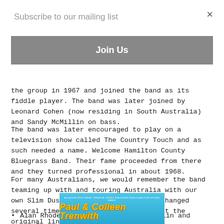Subscribe to our mailing list
Join Us
the group in 1967 and joined the band as its fiddle player. The band was later joined by Leonard Cohen (now residing in South Australia) and Sandy McMillin on bass.
The band was later encouraged to play on a television show called The Country Touch and as such needed a name. Welcome Hamilton County Bluegrass Band. Their fame proceeded from there and they turned professional in about 1968.
For many Australians, we would remember the band teaming up with and touring Australia with our own Slim Dusty. The band line up had changed several time over the ensuing years but the original lineup comprised:
Alan Rhodes on guitar, banjo, mandolin and vocals
[Figure (photo): Album cover for Paul & Colleen Trenwith, blue background with yellow and white stylized text]